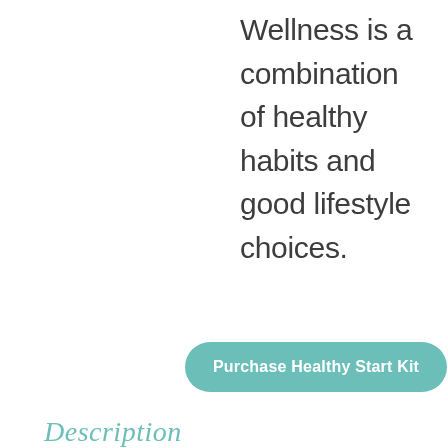Wellness is a combination of healthy habits and good lifestyle choices.
Purchase Healthy Start Kit
Description